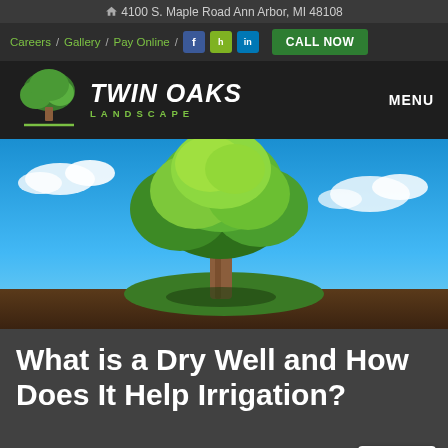4100 S. Maple Road Ann Arbor, MI 48108
Careers / Gallery / Pay Online / [Facebook] [Houzz] [LinkedIn] CALL NOW
[Figure (logo): Twin Oaks Landscape logo with green tree icon, white brand name TWIN OAKS in italic bold, green LANDSCAPE subtitle, and MENU text on right]
[Figure (photo): A small green tree growing on a dark surface against a bright blue sky with white clouds]
What is a Dry Well and How Does It Help Irrigation?